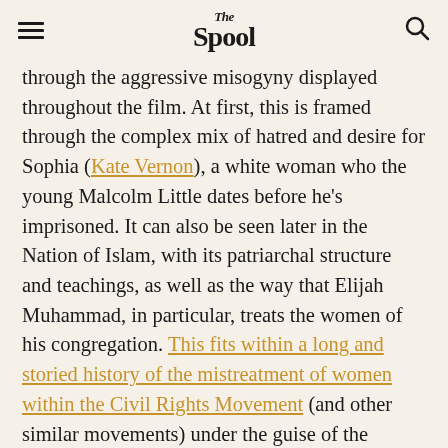The Spool
through the aggressive misogyny displayed throughout the film. At first, this is framed through the complex mix of hatred and desire for Sophia (Kate Vernon), a white woman who the young Malcolm Little dates before he's imprisoned. It can also be seen later in the Nation of Islam, with its patriarchal structure and teachings, as well as the way that Elijah Muhammad, in particular, treats the women of his congregation. This fits within a long and storied history of the mistreatment of women within the Civil Rights Movement (and other similar movements) under the guise of the